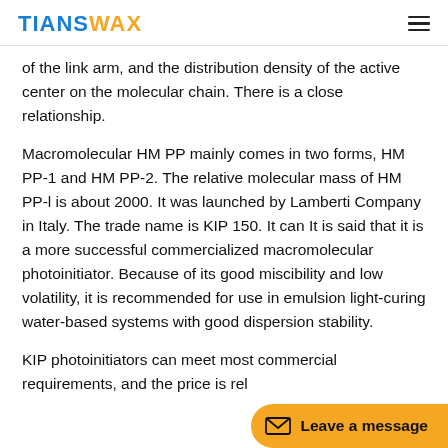TIANSWAX
of the link arm, and the distribution density of the active center on the molecular chain. There is a close relationship.
Macromolecular HM PP mainly comes in two forms, HM PP-1 and HM PP-2. The relative molecular mass of HM PP-l is about 2000. It was launched by Lamberti Company in Italy. The trade name is KIP 150. It can It is said that it is a more successful commercialized macromolecular photoinitiator. Because of its good miscibility and low volatility, it is recommended for use in emulsion light-curing water-based systems with good dispersion stability.
KIP photoinitiators can meet most commercial requirements, and the price is rel…